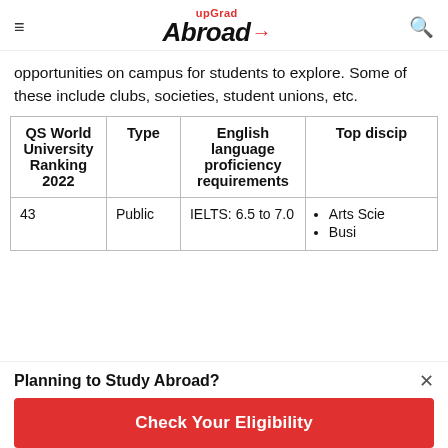upGrad Abroad
opportunities on campus for students to explore. Some of these include clubs, societies, student unions, etc.
| QS World University Ranking 2022 | Type | English language proficiency requirements | Top discip |
| --- | --- | --- | --- |
| 43 | Public | IELTS: 6.5 to 7.0 | • Arts Scie
• Busi |
Planning to Study Abroad?
Check Your Eligibility